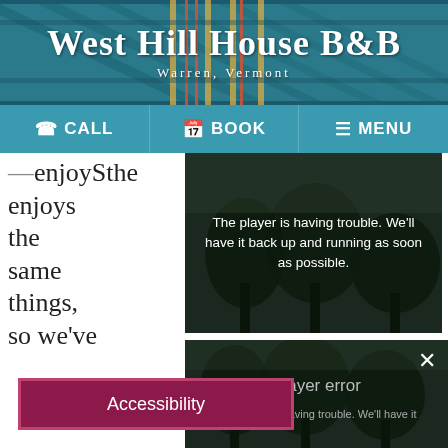West Hill House B&B
Warren, Vermont
CALL  BOOK  MENU
enjoys the same things, so we've
[Figure (screenshot): Video player error screen with dark background and text: The player is having trouble. We'll have it back up and running as soon as possible.]
[Figure (screenshot): Second video player error with close button, title 'Player error' and partial error text: The player is having trouble. We'll have it]
Accessibility